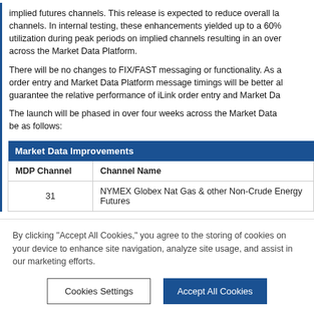implied futures channels. This release is expected to reduce overall latency on implied futures channels. In internal testing, these enhancements yielded up to a 60% reduction in CPU utilization during peak periods on implied channels resulting in an overall improvement across the Market Data Platform.
There will be no changes to FIX/FAST messaging or functionality. As a result, iLink order entry and Market Data Platform message timings will be better aligned. CME does not guarantee the relative performance of iLink order entry and Market Data message timings.
The launch will be phased in over four weeks across the Market Data Platform and will be as follows:
| Market Data Improvements |  |
| --- | --- |
| MDP Channel | Channel Name |
| 31 | NYMEX Globex Nat Gas & other Non-Crude Energy Futures |
By clicking "Accept All Cookies," you agree to the storing of cookies on your device to enhance site navigation, analyze site usage, and assist in our marketing efforts.